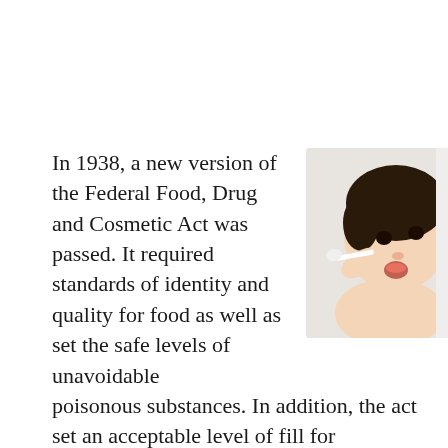[Figure (photo): A young Asian toddler being fed with a spoon, photographed against a white background. The child is shirtless and looking upward with mouth open.]
In 1938, a new version of the Federal Food, Drug and Cosmetic Act was passed. It required standards of identity and quality for food as well as set the safe levels of unavoidable poisonous substances. In addition, the act set an acceptable level of fill for containers, meaning that manufacturers could not half fill